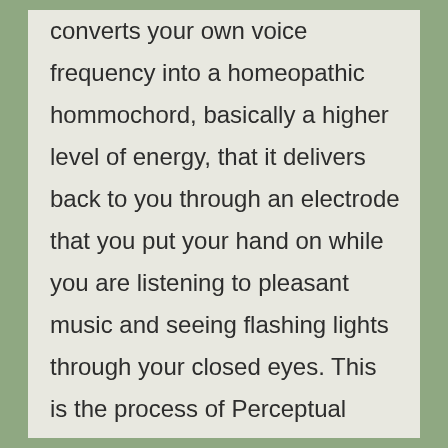converts your own voice frequency into a homeopathic hommochord, basically a higher level of energy, that it delivers back to you through an electrode that you put your hand on while you are listening to pleasant music and seeing flashing lights through your closed eyes. This is the process of Perceptual Reframing. Users have reported positive impacts in personal health, interpersonal relationships, and personal